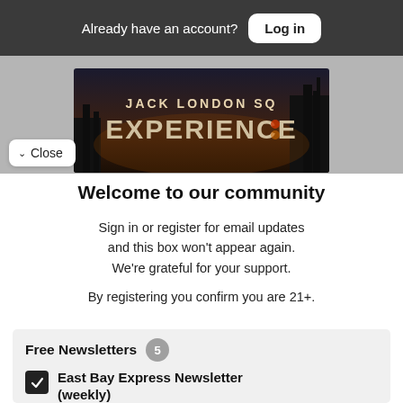Already have an account? Log in
[Figure (photo): Jack London Square Experience banner image — dark night photo of industrial waterfront with large text reading JACK LONDON SQ and EXPERIENCE]
Close
Welcome to our community
Sign in or register for email updates and this box won't appear again. We're grateful for your support.
By registering you confirm you are 21+.
Free Newsletters 5
East Bay Express Newsletter (weekly)
News stories, arts and dining